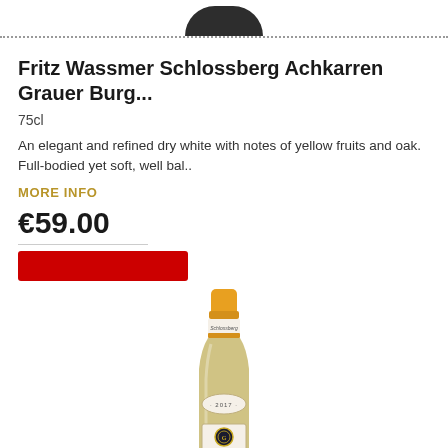[Figure (photo): Top of a dark wine bottle partially visible at the top of the page]
Fritz Wassmer Schlossberg Achkarren Grauer Burg...
75cl
An elegant and refined dry white with notes of yellow fruits and oak. Full-bodied yet soft, well bal..
MORE INFO
€59.00
[Figure (photo): Wine bottle with yellow/gold foil cap, white label showing Schlossberg branding with 2017 vintage and gold medallion seal]